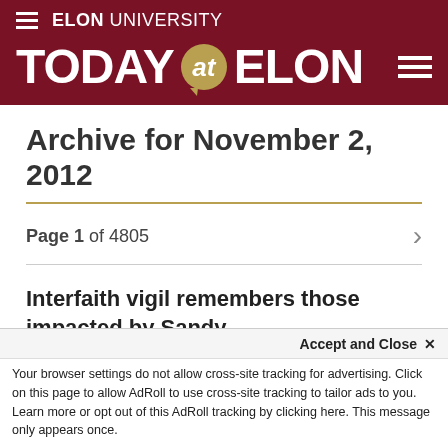ELON UNIVERSITY
TODAY at ELON
Archive for November 2, 2012
Page 1 of 4805
Interfaith vigil remembers those impacted by Sandy
November 2, 2012
students and staff gathered in LaRose Digi...
Accept and Close ×
Your browser settings do not allow cross-site tracking for advertising. Click on this page to allow AdRoll to use cross-site tracking to tailor ads to you. Learn more or opt out of this AdRoll tracking by clicking here. This message only appears once.